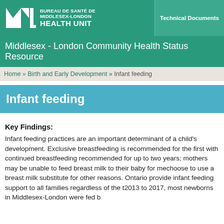BUREAU DE SANTÉ DE MIDDLESEX-LONDON HEALTH UNIT | Technical Documents
Middlesex - London Community Health Status Resource
Home » Birth and Early Development » Infant feeding
Infant feeding
Key Findings:
Infant feeding practices are an important determinant of a child's development. Exclusive breastfeeding is recommended for the first with continued breastfeeding recommended for up to two years; mothers may be unable to feed breast milk to their baby for me choose to use a breast milk substitute for other reasons. Ontario provide infant feeding support to all families regardless of the t 2013 to 2017, most newborns in Middlesex-London were fed b